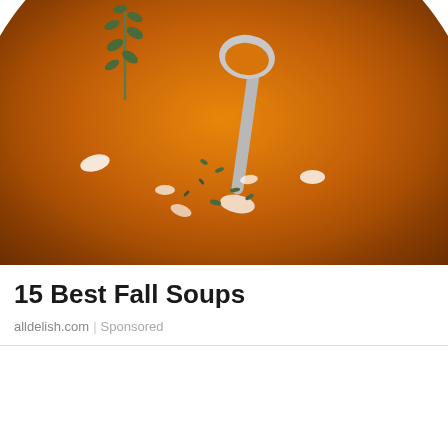[Figure (photo): Overhead view of a white bowl of orange butternut squash or pumpkin soup, garnished with cream swirls, fresh thyme leaves, and a silver spoon resting in it. A thyme sprig is visible at the top left.]
15 Best Fall Soups
alldelish.com | Sponsored